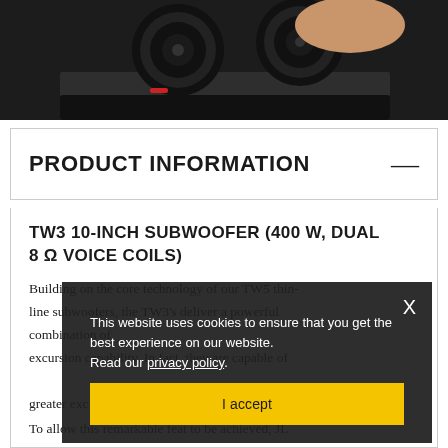[Figure (photo): Person handling a car subwoofer speaker on a surface, dark background]
PRODUCT INFORMATION
TW3 10-INCH SUBWOOFER (400 W, DUAL 8 Ω VOICE COILS)
Building on the core technology of our TW5 thin-line subwoofers, the TW3's deliver a powerful combination of excursion capability. In fact, they are capable of greater exc...
To allow this remarkable feat to be achieved, JL
This website uses cookies to ensure that you get the best experience on our website. Read our privacy policy.
I accept